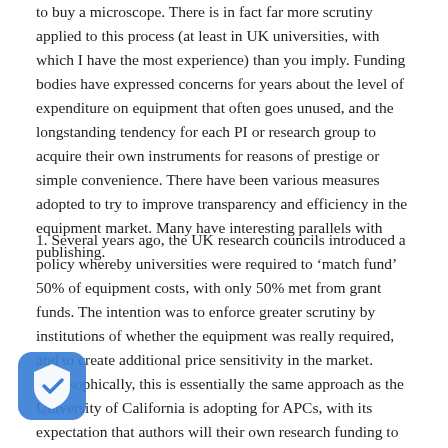to buy a microscope. There is in fact far more scrutiny applied to this process (at least in UK universities, with which I have the most experience) than you imply. Funding bodies have expressed concerns for years about the level of expenditure on equipment that often goes unused, and the longstanding tendency for each PI or research group to acquire their own instruments for reasons of prestige or simple convenience. There have been various measures adopted to try to improve transparency and efficiency in the equipment market. Many have interesting parallels with publishing.
1. Several years ago, the UK research councils introduced a policy whereby universities were required to ‘match fund’ 50% of equipment costs, with only 50% met from grant funds. The intention was to enforce greater scrutiny by institutions of whether the equipment was really required, and to create additional price sensitivity in the market. Philosophically, this is essentially the same approach as the University of California is adopting for APCs, with its expectation that authors will their own research funding to cover the balance above